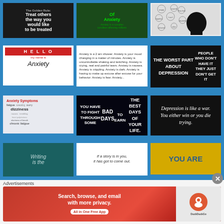[Figure (infographic): Dark background with white bold text: 'The Golden Rule: Treat others the way you would like to be treated']
[Figure (infographic): Dark green background with green text title 'Of Anxiety' and body text about anxiety]
[Figure (infographic): Thought bubble diagram with silhouette head and anxiety-related thoughts]
[Figure (infographic): HELLO my name is Anxiety - red and white name badge style]
[Figure (infographic): White background text describing what anxiety is: '2am shower', 'mood changing', 'uncontrollable shaking and twitching', 'crying', 'nausea', etc.]
[Figure (infographic): Black background white bold text: 'THE WORST PART ABOUT DEPRESSION PEOPLE WHO DON'T HAVE IT THEY JUST DON'T GET IT']
[Figure (infographic): Anxiety Symptoms word cloud with 'dizziness' and 'chronic fatigue' prominent]
[Figure (infographic): Dark space background with white bold text: 'YOU HAVE TO FIGHT THROUGH SOME BAD DAYS TO EARN THE BEST DAYS OF YOUR LIFE.']
[Figure (infographic): Black background white serif text: 'Depression is like a war. You either win or you die trying.']
[Figure (infographic): Teal background italic text: 'Writing is the...']
[Figure (infographic): White background italic text: 'If a story is in you, it has got to come out.']
[Figure (infographic): Gold/yellow background bold text: 'YOU ARE']
Advertisements
[Figure (infographic): DuckDuckGo advertisement banner: 'Search, browse, and email with more privacy. All in One Free App' with DuckDuckGo logo on orange background]